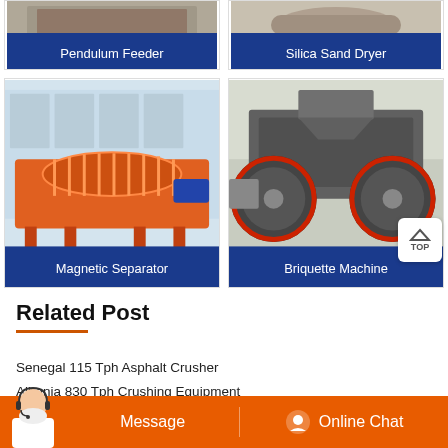[Figure (photo): Pendulum Feeder industrial machine photo with blue label overlay]
[Figure (photo): Silica Sand Dryer industrial machine photo with blue label overlay]
[Figure (photo): Magnetic Separator orange industrial machine with blue label]
[Figure (photo): Briquette Machine with large wheels in industrial setting with blue label]
Related Post
Senegal 115 Tph Asphalt Crusher
Albania 830 Tph Crushing Equipment
[Figure (infographic): Bottom orange bar with Message button and Online Chat button with avatar]